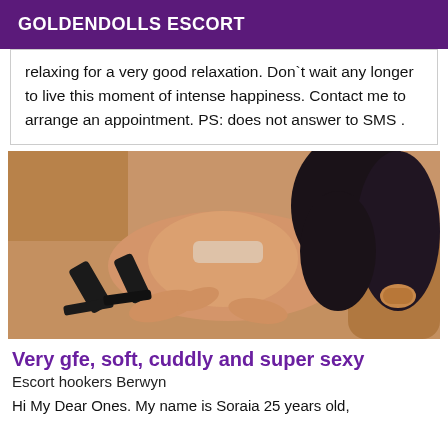GOLDENDOLLS ESCORT
relaxing for a very good relaxation. Don`t wait any longer to live this moment of intense happiness. Contact me to arrange an appointment. PS: does not answer to SMS .
[Figure (photo): Woman posing on a couch wearing heels and lingerie, viewed from behind]
Very gfe, soft, cuddly and super sexy
Escort hookers Berwyn
Hi My Dear Ones. My name is Soraia 25 years old,